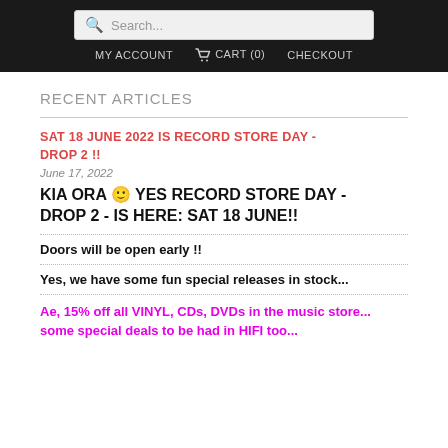Search... | MY ACCOUNT  CART (0)  CHECKOUT
RECENT ARTICLES
SAT 18 JUNE 2022 IS RECORD STORE DAY - DROP 2 !!
June 17, 2022
KIA ORA 🙂 YES RECORD STORE DAY - DROP 2 - IS HERE: SAT 18 JUNE!!
Doors will be open early !!
Yes, we have some fun special releases in stock...
Ae, 15% off all VINYL, CDs, DVDs in the music store... some special deals to be had in HIFI too...